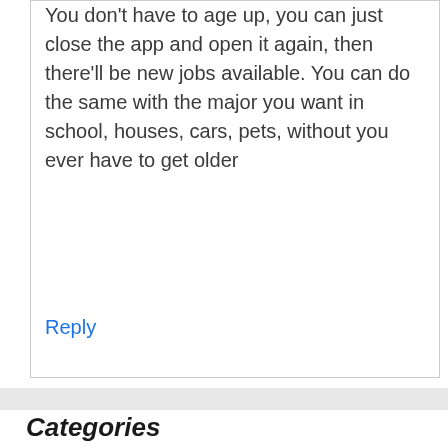You don't have to age up, you can just close the app and open it again, then there'll be new jobs available. You can do the same with the major you want in school, houses, cars, pets, without you ever have to get older
Reply
Categories